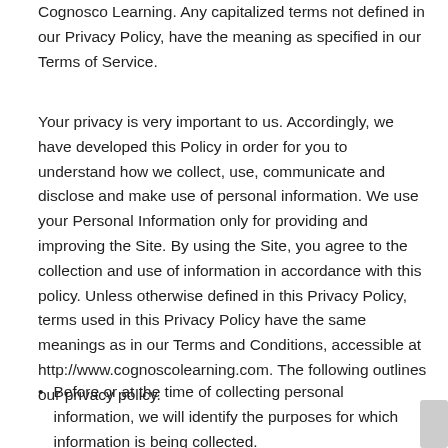Cognosco Learning. Any capitalized terms not defined in our Privacy Policy, have the meaning as specified in our Terms of Service.
Your privacy is very important to us. Accordingly, we have developed this Policy in order for you to understand how we collect, use, communicate and disclose and make use of personal information. We use your Personal Information only for providing and improving the Site. By using the Site, you agree to the collection and use of information in accordance with this policy. Unless otherwise defined in this Privacy Policy, terms used in this Privacy Policy have the same meanings as in our Terms and Conditions, accessible at http://www.cognoscolearning.com. The following outlines our privacy policy.
Before or at the time of collecting personal information, we will identify the purposes for which information is being collected.